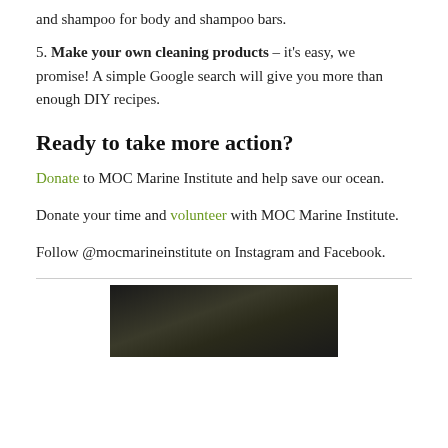and shampoo for body and shampoo bars.
5. Make your own cleaning products – it's easy, we promise! A simple Google search will give you more than enough DIY recipes.
Ready to take more action?
Donate to MOC Marine Institute and help save our ocean.
Donate your time and volunteer with MOC Marine Institute.
Follow @mocmarineinstitute on Instagram and Facebook.
[Figure (photo): Dark underwater or nature photograph, partially visible at bottom of page]